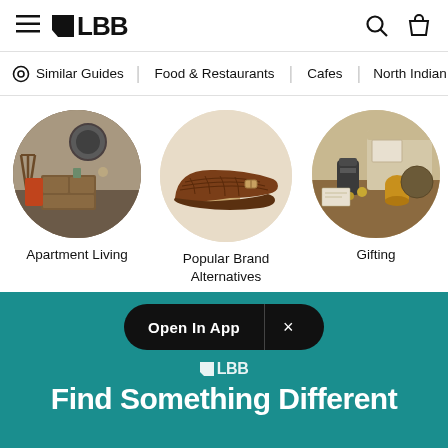LBB navigation header with hamburger menu, LBB logo, search icon, and cart icon
Similar Guides | Food & Restaurants | Cafes | North Indian
[Figure (photo): Three circular category images: Apartment Living (interior with wooden furniture), Popular Brand Alternatives (brown leather shoes), Gifting (gift boxes and products)]
Apartment Living
Popular Brand Alternatives
Gifting
Open In App
Find Something Different